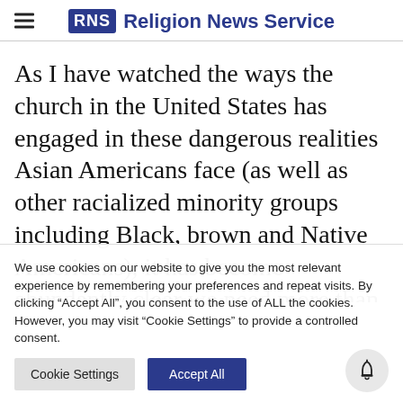RNS Religion News Service
As I have watched the ways the church in the United States has engaged in these dangerous realities Asian Americans face (as well as other racialized minority groups including Black, brown and Native Americans), it has become abundantly clear we need more than
We use cookies on our website to give you the most relevant experience by remembering your preferences and repeat visits. By clicking “Accept All”, you consent to the use of ALL the cookies. However, you may visit "Cookie Settings" to provide a controlled consent.